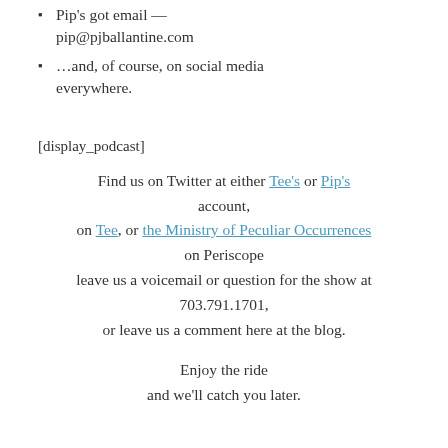Pip's got email — pip@pjballantine.com
…and, of course, on social media everywhere.
[display_podcast]
Find us on Twitter at either Tee's or Pip's account, on Tee, or the Ministry of Peculiar Occurrences on Periscope leave us a voicemail or question for the show at 703.791.1701, or leave us a comment here at the blog.

Enjoy the ride
and we'll catch you later.